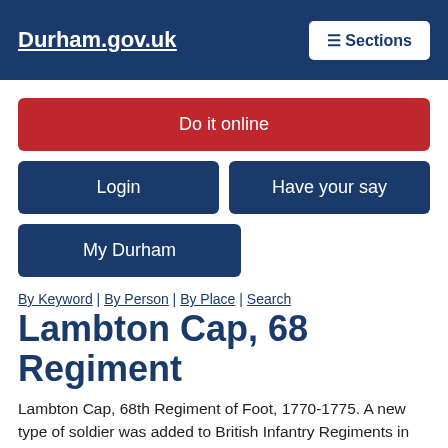Durham.gov.uk | Sections
Do it online
Login
Have your say
My Durham
By Keyword | By Person | By Place | Search
Lambton Cap, 68 Regiment
Lambton Cap, 68th Regiment of Foot, 1770-1775. A new type of soldier was added to British Infantry Regiments in 1770 - light infantrymen. These soldiers were specially